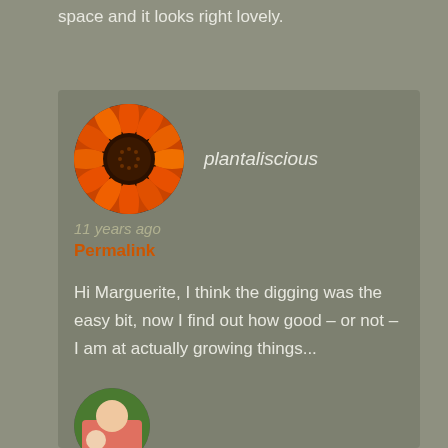space and it looks right lovely.
[Figure (photo): Circular avatar image showing an orange/red sunflower close-up]
plantaliscious
11 years ago
Permalink
Hi Marguerite, I think the digging was the easy bit, now I find out how good – or not – I am at actually growing things...
[Figure (photo): Circular avatar image showing a man in a red shirt smiling with another person]